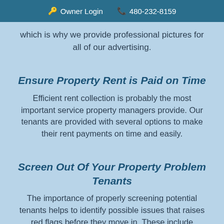🔑 Owner Login  📞 480-232-8159
which is why we provide professional pictures for all of our advertising.
Ensure Property Rent is Paid on Time
Efficient rent collection is probably the most important service property managers provide. Our tenants are provided with several options to make their rent payments on time and easily.
Screen Out Of Your Property Problem Tenants
The importance of properly screening potential tenants helps to identify possible issues that raises red flags before they move in. These include recognizing rental scams, late payments, poor credit history, and other facts hidden in a person's